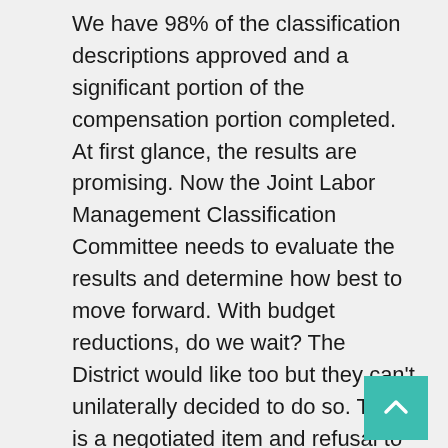We have 98% of the classification descriptions approved and a significant portion of the compensation portion completed. At first glance, the results are promising. Now the Joint Labor Management Classification Committee needs to evaluate the results and determine how best to move forward. With budget reductions, do we wait? The District would like too but they can't unilaterally decided to do so. This is a negotiated item and refusal to take any type of action would constitute an Unfair Labor Practice (ULP) on their part. We should reject the notion that we only focus on reductions and any changes to improve how we operate, build better systems and processes, provide opportunity for growth and evaluate how we compensate workers must wait until this crisis is over. The goal for this study continues to be to align job descriptions with the current roles and responsibilities of classified employees, develop career ladders where appropriate,